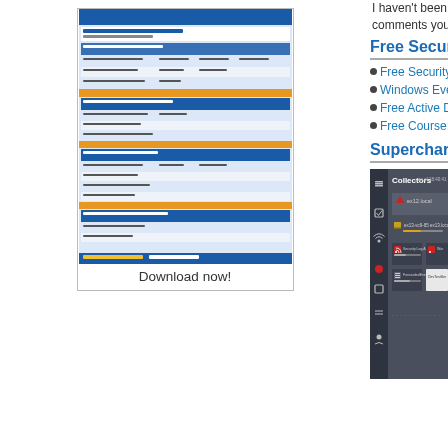[Figure (thumbnail): Thumbnail image of a security log reference chart/table document preview]
Download now!
I haven't been able to produce this event. Have comments you may have! Don't forget to sani
Free Security Log Resources b
Free Security Log Quick Reference Cha
Windows Event Collection: Supercharge
Free Active Directory Change Auditing S
Free Course: Security Log Secrets
Supercharger Free Edition
[Figure (screenshot): Screenshot of Supercharger Free Edition showing Collectors interface with ex12.local (red warning triangle), ex13-sc9-85 ex13.local with yellow status, Security Log A-ex13-sc5 panel, ForwardedEvents panel, and DevTestSer panel]